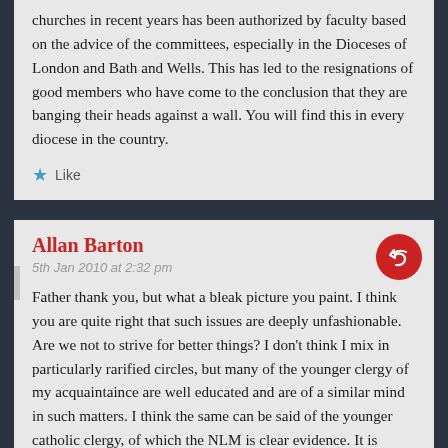churches in recent years has been authorized by faculty based on the advice of the committees, especially in the Dioceses of London and Bath and Wells. This has led to the resignations of good members who have come to the conclusion that they are banging their heads against a wall. You will find this in every diocese in the country.
Like
Allan Barton
5th Jan 2010 at 2:32 pm
Father thank you, but what a bleak picture you paint. I think you are quite right that such issues are deeply unfashionable. Are we not to strive for better things? I don't think I mix in particularly rarified circles, but many of the younger clergy of my acquaintaince are well educated and are of a similar mind in such matters. I think the same can be said of the younger catholic clergy, of which the NLM is clear evidence. It is perhaps professional suicide in